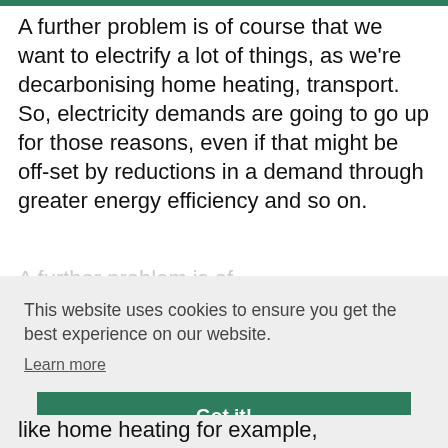A further problem is of course that we want to electrify a lot of things, as we're decarbonising home heating, transport. So, electricity demands are going to go up for those reasons, even if that might be off-set by reductions in a demand through greater energy efficiency and so on.
This website uses cookies to ensure you get the best experience on our website.
Learn more
Got it!
like home heating for example,